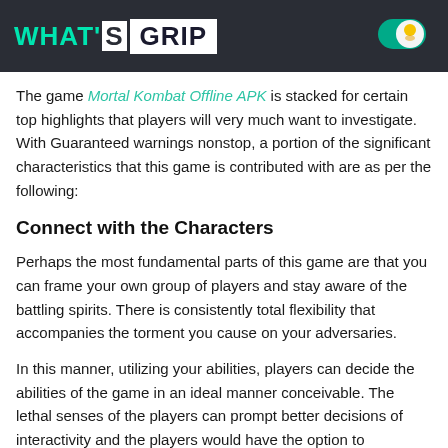WHAT'S GRIP
The game Mortal Kombat Offline APK is stacked for certain top highlights that players will very much want to investigate. With Guaranteed warnings nonstop, a portion of the significant characteristics that this game is contributed with are as per the following:
Connect with the Characters
Perhaps the most fundamental parts of this game are that you can frame your own group of players and stay aware of the battling spirits. There is consistently total flexibility that accompanies the torment you cause on your adversaries.
In this manner, utilizing your abilities, players can decide the abilities of the game in an ideal manner conceivable. The lethal senses of the players can prompt better decisions of interactivity and the players would have the option to overcome